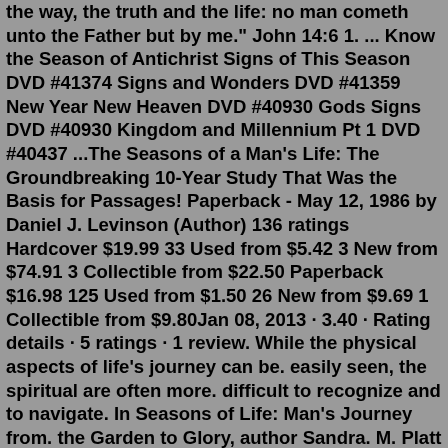the way, the truth and the life: no man cometh unto the Father but by me." John 14:6 1. ... Know the Season of Antichrist Signs of This Season DVD #41374 Signs and Wonders DVD #41359 New Year New Heaven DVD #40930 Gods Signs DVD #40930 Kingdom and Millennium Pt 1 DVD #40437 ...The Seasons of a Man's Life: The Groundbreaking 10-Year Study That Was the Basis for Passages! Paperback - May 12, 1986 by Daniel J. Levinson (Author) 136 ratings Hardcover $19.99 33 Used from $5.42 3 New from $74.91 3 Collectible from $22.50 Paperback $16.98 125 Used from $1.50 26 New from $9.69 1 Collectible from $9.80Jan 08, 2013 · 3.40 · Rating details · 5 ratings · 1 review. While the physical aspects of life's journey can be. easily seen, the spiritual are often more. difficult to recognize and to navigate. In Seasons of Life: Man's Journey from. the Garden to Glory, author Sandra. M. Platt tells the story of one man's. spiritual journey as he comes to. Don't judge a life by one difficult season. There was a man who had four sons. He wanted his sons to learn